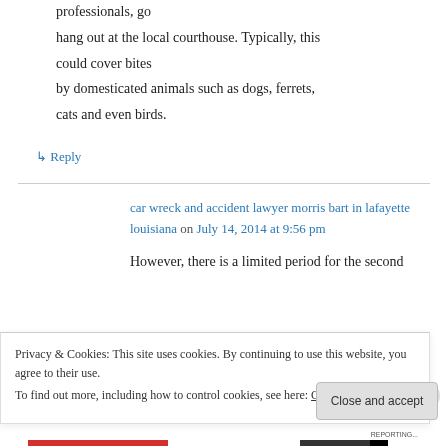professionals, go hang out at the local courthouse. Typically, this could cover bites by domesticated animals such as dogs, ferrets, cats and even birds.
↳ Reply
car wreck and accident lawyer morris bart in lafayette louisiana on July 14, 2014 at 9:56 pm
However, there is a limited period for the second
Privacy & Cookies: This site uses cookies. By continuing to use this website, you agree to their use.
To find out more, including how to control cookies, see here: Cookie Policy